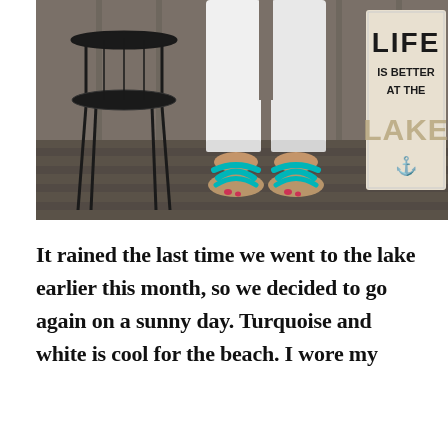[Figure (photo): Photo of a person's lower body wearing white pants and turquoise strappy sandals, standing on a wooden deck. A black metal chair is on the left and a wooden sign reading 'LIFE IS BETTER AT THE LAKE' with an anchor decoration is on the right.]
It rained the last time we went to the lake earlier this month, so we decided to go again on a sunny day. Turquoise and white is cool for the beach. I wore my skinny sandals that I found at a thrift